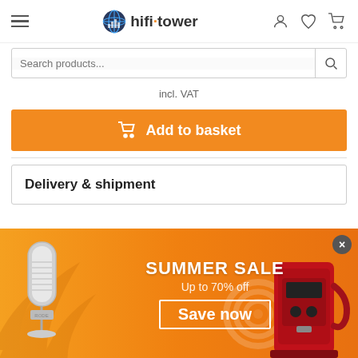hifi tower
incl. VAT
Add to basket
Delivery & shipment
[Figure (illustration): Summer Sale promotional banner with text 'SUMMER SALE Up to 70% off Save now', orange/yellow background with palm leaves, a microphone product on left, a red coffee machine on right, and a close button.]